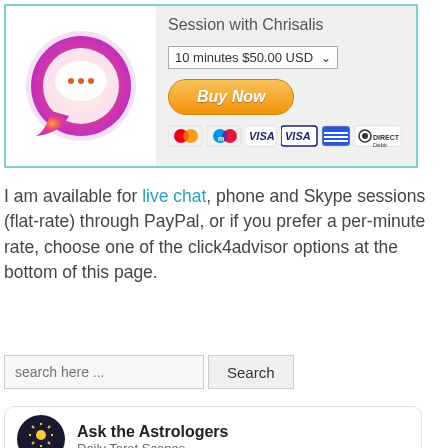[Figure (other): PayPal session widget for Chrisalis showing a chat app logo, session dropdown (10 minutes $50.00 USD), Buy Now button, and payment card icons]
I am available for live chat, phone and Skype sessions (flat-rate) through PayPal, or if you prefer a per-minute rate, choose one of the click4advisor options at the bottom of this page.
[Figure (other): Search bar with placeholder 'search here ...' and a Search button]
[Figure (other): Ask the Astrologers widget showing logo and subtitle Daily Tarot Scopes]